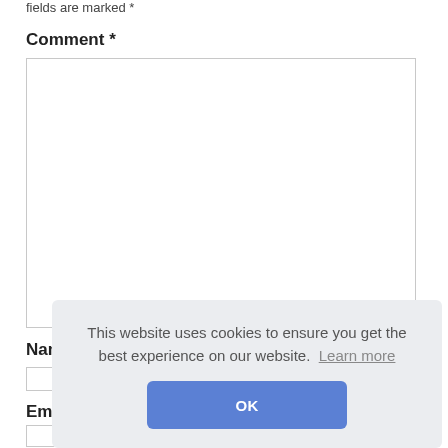fields are marked *
Comment *
[Figure (screenshot): Large empty textarea for comment input with resize handle]
Nam
[Figure (screenshot): Short text input field for Name]
Em
[Figure (screenshot): Text input field for Email]
This website uses cookies to ensure you get the best experience on our website. Learn more
[Figure (screenshot): OK button in cookie consent dialog]